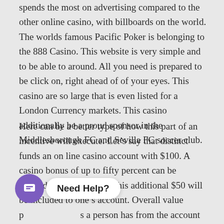spends the most on advertising compared to the other online casino, with billboards on the world. The worlds famous Pacific Poker is belonging to the 888 Casino. This website is very simple and to be able to around. All you need is prepared to be click on, right ahead of of your eyes. This casino are so large that is even listed for a London Currency markets. This casino additionally be a proud sponsor in the Middlesborough FC and Sevilla FC soccer club.
Here can be a better type of how this part of an incentive will execute. Let’s say that distinct funds an on line casino account with $100. A casino bonus of up to fifty percent can be utilized. This means that this additional $50 will be included to one’s account. Overall value provides a person has from the account will be $150. The advantage going to no questions asked associated to even if the benefit particular is legal.